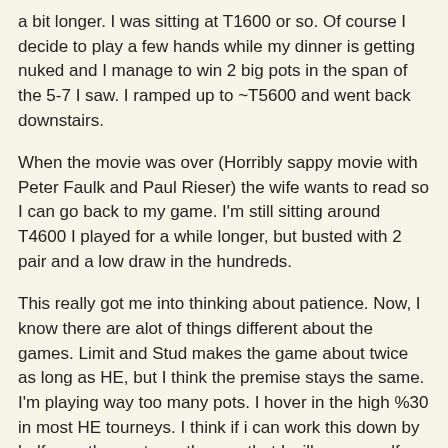a bit longer. I was sitting at T1600 or so. Of course I decide to play a few hands while my dinner is getting nuked and I manage to win 2 big pots in the span of the 5-7 I saw. I ramped up to ~T5600 and went back downstairs.
When the movie was over (Horribly sappy movie with Peter Faulk and Paul Rieser) the wife wants to read so I can go back to my game. I'm still sitting around T4600 I played for a while longer, but busted with 2 pair and a low draw in the hundreds.
This really got me into thinking about patience. Now, I know there are alot of things different about the games. Limit and Stud makes the game about twice as long as HE, but I think the premise stays the same. I'm playing way too many pots. I hover in the high %30 in most HE tourneys. I think if i can work this down by half over the next month or so that I will see myself lasting longer in even more tournaments, and the last thing you want is me with some chippies at your table.
I'll be around for the MOOK tonight, I also have a ticket to the 25K at the same time, so maybe I can do some damage